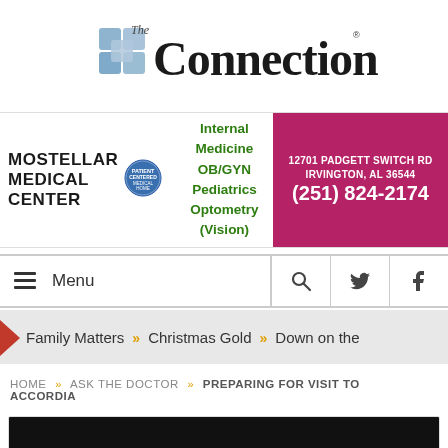[Figure (logo): The Connection logo with puzzle piece graphic and stylized text]
[Figure (infographic): Mostellar Medical Center advertisement banner with address 12701 Padgett Switch Rd, Irvington AL 36544, phone (251) 824-2174, services: Internal Medicine, OB/GYN, Pediatrics, Optometry (Vision)]
Menu | search | twitter | facebook
Family Matters » Christmas Gold » Down on the
HOME » ASK THE DOCTOR » PREPARING FOR VISIT TO ACCORDIA
[Figure (photo): Dark photograph, article image at bottom of page]